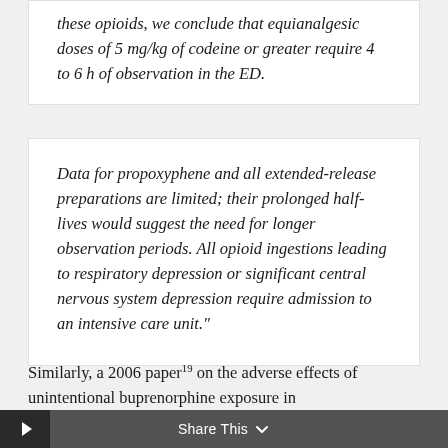these opioids, we conclude that equianalgesic doses of 5 mg/kg of codeine or greater require 4 to 6 h of observation in the ED.
Data for propoxyphene and all extended-release preparations are limited; their prolonged half-lives would suggest the need for longer observation periods. All opioid ingestions leading to respiratory depression or significant central nervous system depression require admission to an intensive care unit."
Similarly, a 2006 paper¹⁹ on the adverse effects of unintentional buprenorphine exposure in